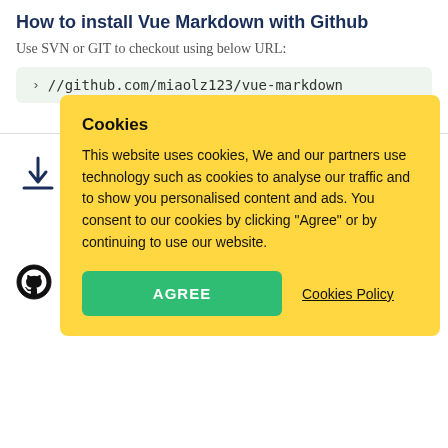How to install Vue Markdown with Github
Use SVN or GIT to checkout using below URL:
› //github.com/miaolz123/vue-markdown
Download Files
Download and 1 or in ZIP
npm ... age
[Figure (other): GitHub logo icon]
Cookies
This website uses cookies, We and our partners use technology such as cookies to analyse our traffic and to show you personalised content and ads. You consent to our cookies by clicking "Agree" or by continuing to use our website.
AGREE    Cookies Policy